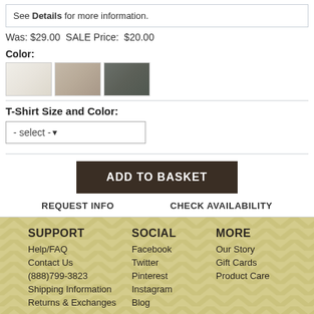See Details for more information.
Was: $29.00  SALE Price:  $20.00
Color:
[Figure (other): Three fabric color swatches: white/cream, tan/beige, dark gray/green]
T-Shirt Size and Color:
- select -
ADD TO BASKET
REQUEST INFO    CHECK AVAILABILITY
SUPPORT  Help/FAQ  Contact Us  (888)799-3823  Shipping Information  Returns & Exchanges  SOCIAL  Facebook  Twitter  Pinterest  Instagram  Blog  MORE  Our Story  Gift Cards  Product Care